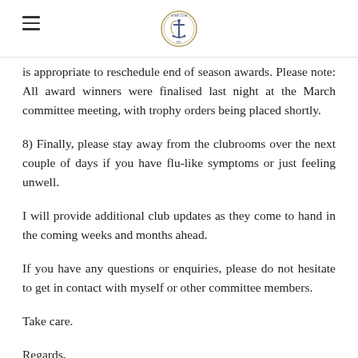[Club logo and navigation]
is appropriate to reschedule end of season awards. Please note: All award winners were finalised last night at the March committee meeting, with trophy orders being placed shortly.
8) Finally, please stay away from the clubrooms over the next couple of days if you have flu-like symptoms or just feeling unwell.
I will provide additional club updates as they come to hand in the coming weeks and months ahead.
If you have any questions or enquiries, please do not hesitate to get in contact with myself or other committee members.
Take care.
Regards,